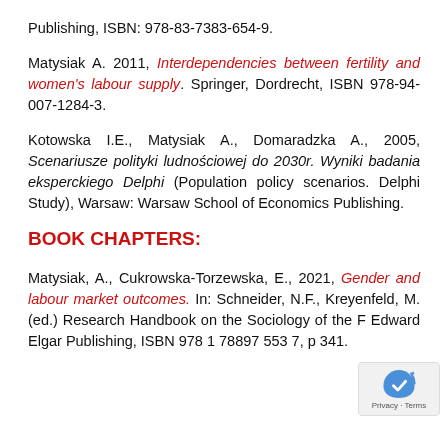Publishing, ISBN: 978-83-7383-654-9.
Matysiak A. 2011, Interdependencies between fertility and women's labour supply. Springer, Dordrecht, ISBN 978-94-007-1284-3.
Kotowska I.E., Matysiak A., Domaradzka A., 2005, Scenariusze polityki ludnościowej do 2030r. Wyniki badania eksperckiego Delphi (Population policy scenarios. Delphi Study), Warsaw: Warsaw School of Economics Publishing.
BOOK CHAPTERS:
Matysiak, A., Cukrowska-Torzewska, E., 2021, Gender and labour market outcomes. In: Schneider, N.F., Kreyenfeld, M. (ed.) Research Handbook on the Sociology of the F... Edward Elgar Publishing, ISBN 978 1 78897 553 7, p... 341.